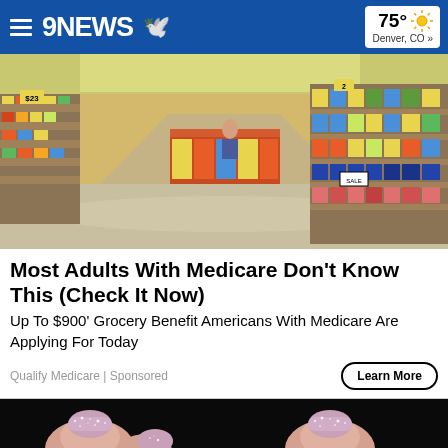9NEWS | 75° Denver, CO »
[Figure (photo): Interior of a grocery store showing long aisles filled with colorful products on shelves, with yellow price signs visible]
Most Adults With Medicare Don't Know This (Check It Now)
Up To $900' Grocery Benefit Americans With Medicare Are Applying For Today
Qualify Medicare | Sponsored
[Figure (photo): Close-up image of fingers with glittery nail art on a dark background]